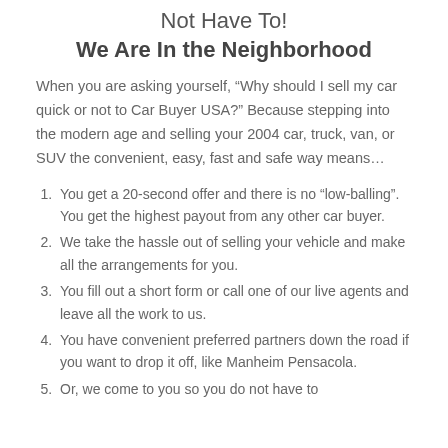Not Have To!
We Are In the Neighborhood
When you are asking yourself, “Why should I sell my car quick or not to Car Buyer USA?” Because stepping into the modern age and selling your 2004 car, truck, van, or SUV the convenient, easy, fast and safe way means…
You get a 20-second offer and there is no “low-balling”. You get the highest payout from any other car buyer.
We take the hassle out of selling your vehicle and make all the arrangements for you.
You fill out a short form or call one of our live agents and leave all the work to us.
You have convenient preferred partners down the road if you want to drop it off, like Manheim Pensacola.
Or, we come to you so you do not have to